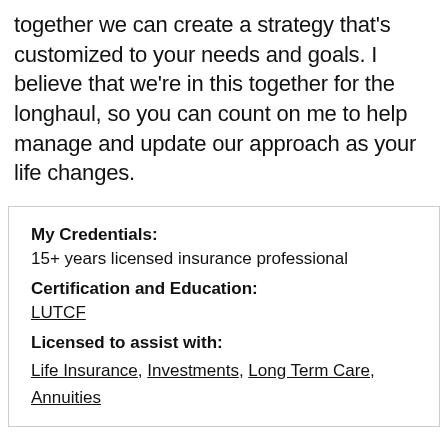together we can create a strategy that's customized to your needs and goals. I believe that we're in this together for the longhaul, so you can count on me to help manage and update our approach as your life changes.
My Credentials:
15+ years licensed insurance professional
Certification and Education:
LUTCF
Licensed to assist with:
Life Insurance, Investments, Long Term Care, Annuities